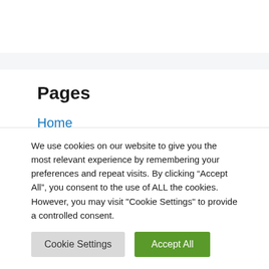Pages
Home
ABOUT US
We use cookies on our website to give you the most relevant experience by remembering your preferences and repeat visits. By clicking “Accept All”, you consent to the use of ALL the cookies. However, you may visit "Cookie Settings" to provide a controlled consent.
Cookie Settings | Accept All